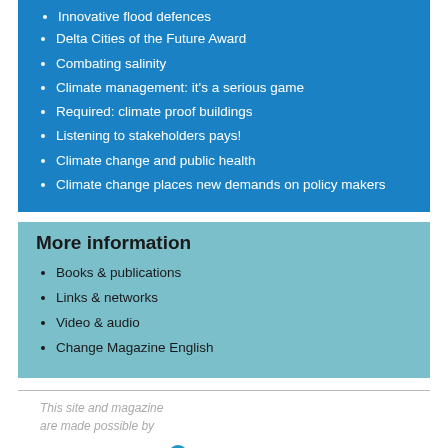Innovative flood defences
Delta Cities of the Future Award
Combating salinity
Climate management: it's a serious game
Required: climate proof buildings
Listening to stakeholders pays!
Climate change and public health
Climate change places new demands on policy makers
More information
Books & publications
Links & networks
Video & audio
Change Magazine English
This site and magazine are made possible by
[Figure (logo): Colorful circles logo (blue, green, red circles arranged in cluster pattern) and a partial circular logo on the right]